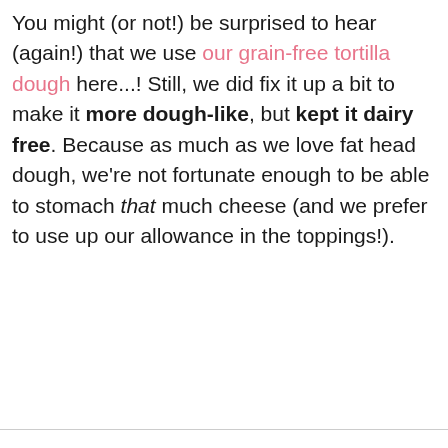You might (or not!) be surprised to hear (again!) that we use our grain-free tortilla dough here...! Still, we did fix it up a bit to make it more dough-like, but kept it dairy free. Because as much as we love fat head dough, we're not fortunate enough to be able to stomach that much cheese (and we prefer to use up our allowance in the toppings!).